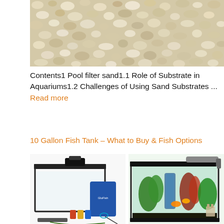[Figure (photo): Close-up photo of crushed white/beige pool filter sand or coral substrate]
Contents1 Pool filter sand1.1 Role of Substrate in Aquariums1.2 Challenges of Using Sand Substrates ... Read more
10 Gallon Fish Tank – What to Buy & Fish Options
[Figure (photo): Two photos of 10-gallon fish tanks side by side: left showing an empty tank kit with accessories, right showing a set-up planted tank with fish]